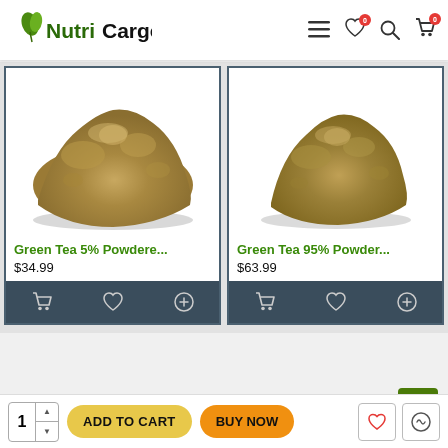[Figure (logo): NutriCargo logo with green leaf icon, green and black text]
[Figure (screenshot): Header navigation icons: hamburger menu, heart with badge 0, search, cart with badge 0]
[Figure (photo): Green Tea 5% powdered extract product image showing a mound of brownish-green powder]
Green Tea 5% Powdere...
$34.99
[Figure (photo): Green Tea 95% powdered extract product image showing a mound of brownish-green powder]
Green Tea 95% Powder...
$63.99
People Also Bought
1
ADD TO CART
BUY NOW